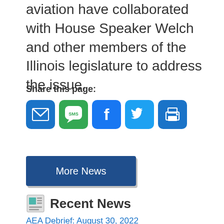aviation have collaborated with House Speaker Welch and other members of the Illinois legislature to address the issue.
Share this page:
[Figure (infographic): Row of five social share icon buttons: Email (blue envelope), SMS (green speech bubble with SMS text), Facebook (blue F), Twitter (blue bird), Print (blue printer)]
More News
Recent News
AEA Debrief: August 30, 2022